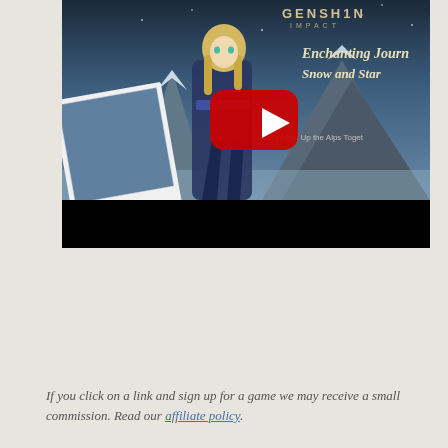[Figure (screenshot): YouTube video thumbnail for a Genshin Impact video titled 'Enchanting Journey Snow and Stars - Let's Light Up the Alps Together' showing a character in front of snowy mountain scenery with a YouTube play button overlay. Below the thumbnail is a black bar (video player controls area). The image has a polaroid photo frame effect on the lower left.]
If you click on a link and sign up for a game we may receive a small commission. Read our affiliate policy.